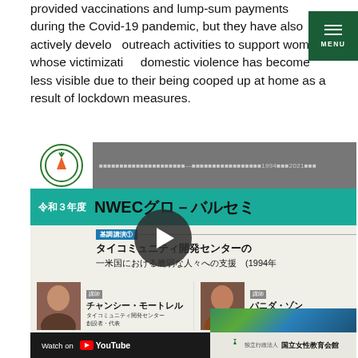provided vaccinations and lump-sum payments during the Covid-19 pandemic, but they have also actively developed outreach activities to support women whose victimization domestic violence has become less visible due to their being cooped up at home as a result of lockdown measures.
[Figure (screenshot): Screenshot of a YouTube video thumbnail for an NWEC Global Seminar (令和3年度 NWECグローバルセミ) featuring a keynote lecture by representatives of the Thai Community Development Center about supporting vulnerable people in the US from 1994. Shows two speakers: チャンシー・モートレル (founder) and パニダ・ゾン (senior attorney). Includes a YouTube 'Watch on YouTube' bar at the bottom.]